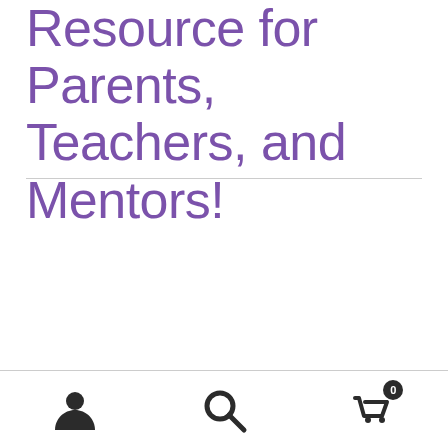Resource for Parents, Teachers, and Mentors!
[Figure (screenshot): Bottom navigation bar with person/account icon, search icon, and shopping cart icon with badge showing 0]